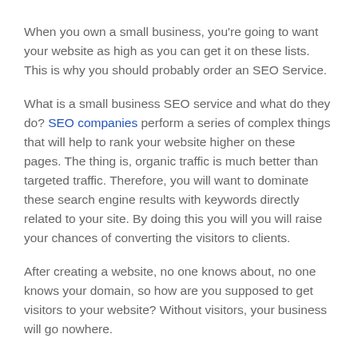When you own a small business, you're going to want your website as high as you can get it on these lists. This is why you should probably order an SEO Service.
What is a small business SEO service and what do they do? SEO companies perform a series of complex things that will help to rank your website higher on these pages. The thing is, organic traffic is much better than targeted traffic. Therefore, you will want to dominate these search engine results with keywords directly related to your site. By doing this you will you will raise your chances of converting the visitors to clients.
After creating a website, no one knows about, no one knows your domain, so how are you supposed to get visitors to your website? Without visitors, your business will go nowhere.